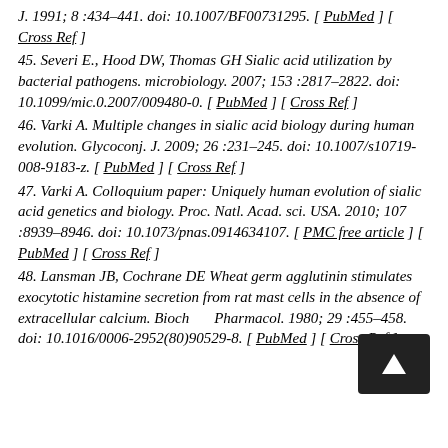J. 1991; 8 :434–441. doi: 10.1007/BF00731295. [ PubMed ] [ Cross Ref ]
45. Severi E., Hood DW, Thomas GH Sialic acid utilization by bacterial pathogens. microbiology. 2007; 153 :2817–2822. doi: 10.1099/mic.0.2007/009480-0. [ PubMed ] [ Cross Ref ]
46. Varki A. Multiple changes in sialic acid biology during human evolution. Glycoconj. J. 2009; 26 :231–245. doi: 10.1007/s10719-008-9183-z. [ PubMed ] [ Cross Ref ]
47. Varki A. Colloquium paper: Uniquely human evolution of sialic acid genetics and biology. Proc. Natl. Acad. sci. USA. 2010; 107 :8939–8946. doi: 10.1073/pnas.0914634107. [ PMC free article ] [ PubMed ] [ Cross Ref ]
48. Lansman JB, Cochrane DE Wheat germ agglutinin stimulates exocytotic histamine secretion from rat mast cells in the absence of extracellular calcium. Biochem. Pharmacol. 1980; 29 :455–458. doi: 10.1016/0006-2952(80)90529-8. [ PubMed ] [ Cross Ref ]